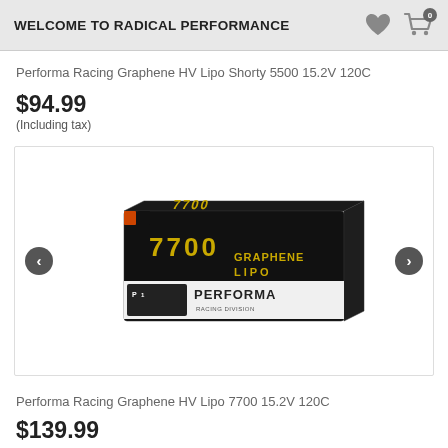WELCOME TO RADICAL PERFORMANCE
Performa Racing Graphene HV Lipo Shorty 5500 15.2V 120C
$94.99
(Including tax)
[Figure (photo): Black rectangular RC car LiPo battery pack labeled '7700 GRAPHENE LIPO' and 'PERFORMA' branding on white label strip, photographed at a slight angle]
Performa Racing Graphene HV Lipo 7700 15.2V 120C
$139.99